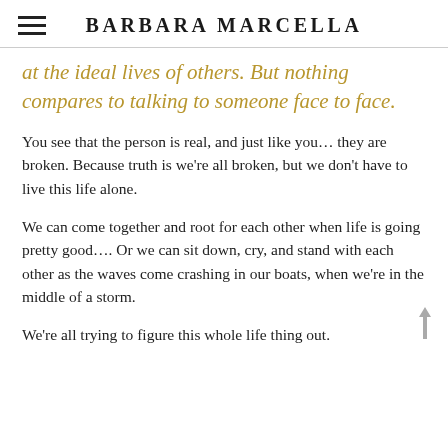BARBARA MARCELLA
at the ideal lives of others. But nothing compares to talking to someone face to face.
You see that the person is real, and just like you... they are broken. Because truth is we’re all broken, but we don’t have to live this life alone.
We can come together and root for each other when life is going pretty good.... Or we can sit down, cry, and stand with each other as the waves come crashing in our boats, when we’re in the middle of a storm.
We’re all trying to figure this whole life thing out.